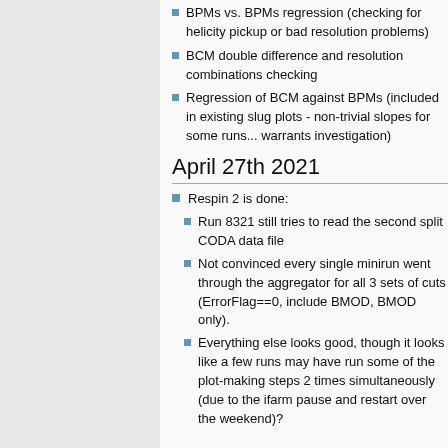BPMs vs. BPMs regression (checking for helicity pickup or bad resolution problems)
BCM double difference and resolution combinations checking
Regression of BCM against BPMs (included in existing slug plots - non-trivial slopes for some runs... warrants investigation)
April 27th 2021
Respin 2 is done:
Run 8321 still tries to read the second split CODA data file
Not convinced every single minirun went through the aggregator for all 3 sets of cuts (ErrorFlag==0, include BMOD, BMOD only).
Everything else looks good, though it looks like a few runs may have run some of the plot-making steps 2 times simultaneously (due to the ifarm pause and restart over the weekend)?